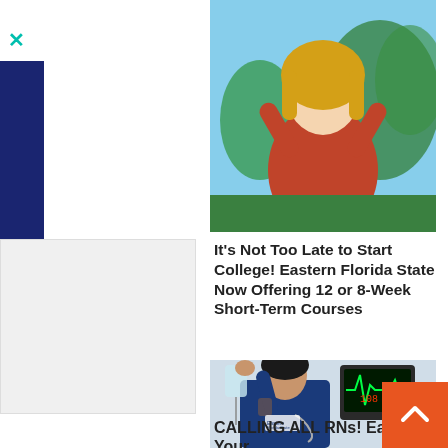[Figure (photo): Woman in red/orange shirt outdoors with trees and blue sky background, reaching upward]
It's Not Too Late to Start College! Eastern Florida State Now Offering 12 or 8-Week Short-Term Courses
[Figure (photo): Male nurse in blue scrubs holding an IV drip bag, with medical monitor in background]
CALLING ALL RNs! Earn Your